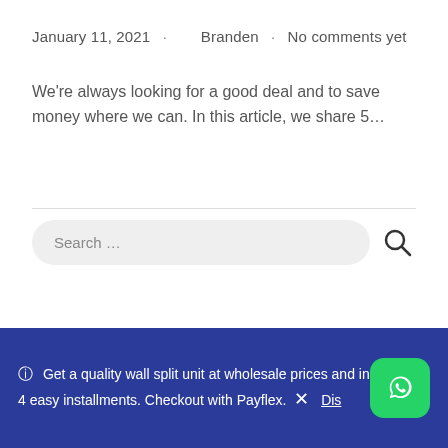January 11, 2021 · Branden · No comments yet
We're always looking for a good deal and to save money where we can. In this article, we share 5...
Search ...
Recent Posts
ⓘ Get a quality wall split unit at wholesale prices and in 4 easy installments. Checkout with Payflex. × Dis